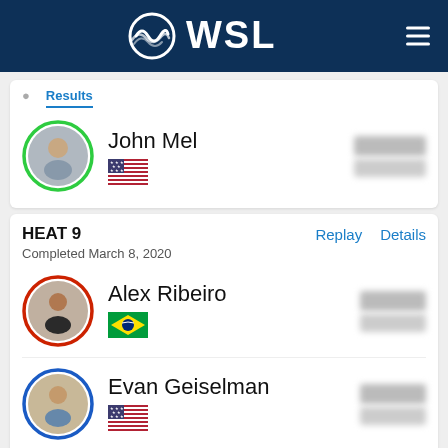[Figure (logo): WSL (World Surf League) logo on dark navy header with hamburger menu icon]
John Mel
[Figure (photo): Circular avatar of John Mel with green border and US flag below]
HEAT 9
Completed March 8, 2020
Replay   Details
Alex Ribeiro
[Figure (photo): Circular avatar of Alex Ribeiro with red/dark border and Brazil flag below]
Evan Geiselman
[Figure (photo): Circular avatar of Evan Geiselman with blue border and US flag below]
Billy Stairmand
[Figure (photo): Circular avatar of Billy Stairmand with grey border and New Zealand flag below]